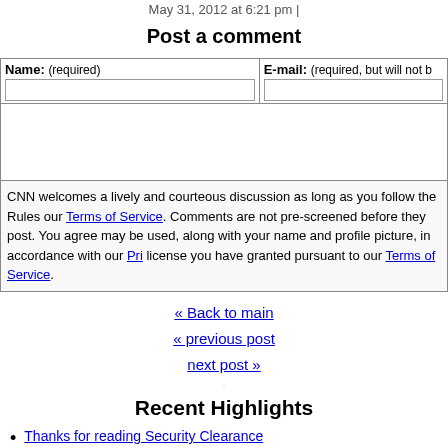May 31, 2012 at 6:21 pm |
Post a comment
| Name: (required) | E-mail: (required, but will not b... |
| --- | --- |
|  |
CNN welcomes a lively and courteous discussion as long as you follow the Rules our Terms of Service. Comments are not pre-screened before they post. You agree may be used, along with your name and profile picture, in accordance with our Pri... license you have granted pursuant to our Terms of Service.
« Back to main
« previous post
next post »
Recent Highlights
Thanks for reading Security Clearance